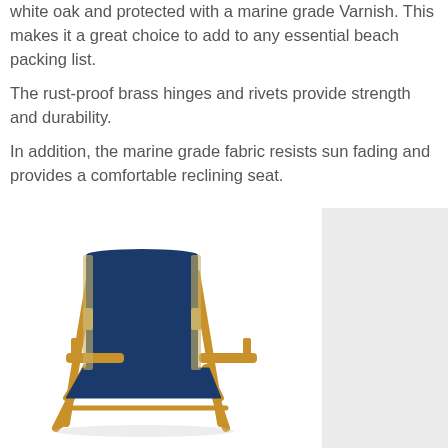white oak and protected with a marine grade Varnish. This makes it a great choice to add to any essential beach packing list.
The rust-proof brass hinges and rivets provide strength and durability.
In addition, the marine grade fabric resists sun fading and provides a comfortable reclining seat.
[Figure (illustration): A wooden folding beach chair with navy blue marine-grade fabric seat and back, wooden armrests and frame with light oak finish, shown at an angle.]